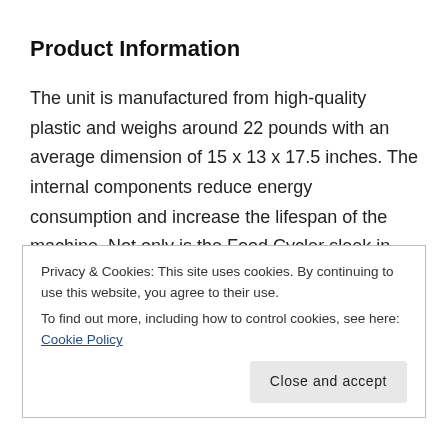Product Information
The unit is manufactured from high-quality plastic and weighs around 22 pounds with an average dimension of 15 x 13 x 17.5 inches. The internal components reduce energy consumption and increase the lifespan of the machine. Not only is the Food Cycler sleek in design but it is stylish and will fit perfectly on your kitchen counter while working silently in the
Privacy & Cookies: This site uses cookies. By continuing to use this website, you agree to their use.
To find out more, including how to control cookies, see here: Cookie Policy
Close and accept